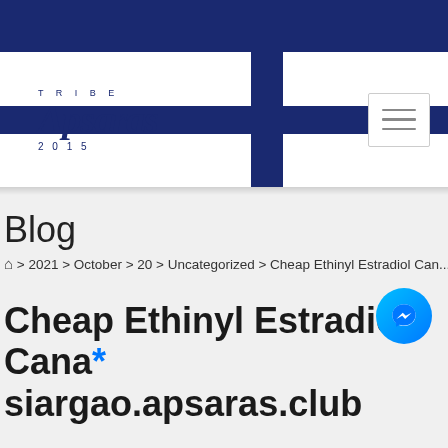[Figure (logo): Tribe Apsaras 2015 logo with dark navy blue stylized script text and cross-stripe design]
Blog
Home > 2021 > October > 20 > Uncategorized > Cheap Ethinyl Estradiol Can...
Cheap Ethinyl Estradiol Cana* siargao.apsaras.club